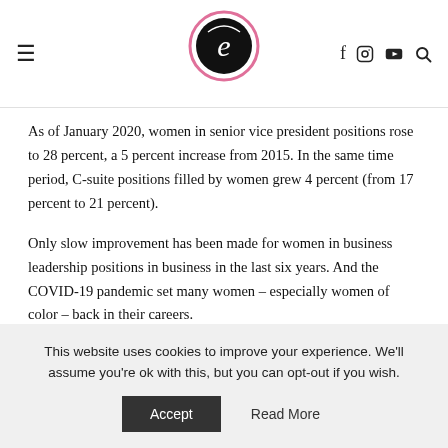Website header with logo and navigation icons
As of January 2020, women in senior vice president positions rose to 28 percent, a 5 percent increase from 2015. In the same time period, C-suite positions filled by women grew 4 percent (from 17 percent to 21 percent).
Only slow improvement has been made for women in business leadership positions in business in the last six years. And the COVID-19 pandemic set many women – especially women of color – back in their careers.
This website uses cookies to improve your experience. We'll assume you're ok with this, but you can opt-out if you wish.